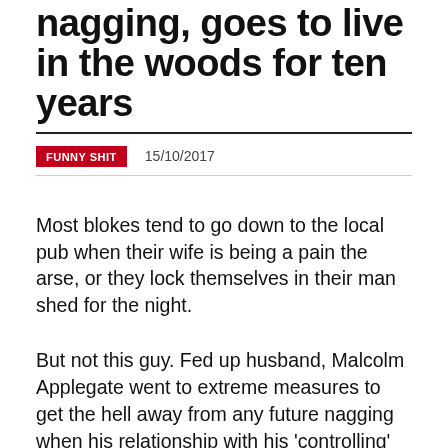nagging, goes to live in the woods for ten years
FUNNY SHIT   15/10/2017
Most blokes tend to go down to the local pub when their wife is being a pain the arse, or they lock themselves in their man shed for the night.
But not this guy. Fed up husband, Malcolm Applegate went to extreme measures to get the hell away from any future nagging when his relationship with his 'controlling' wife reach the